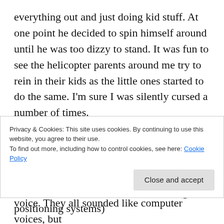everything out and just doing kid stuff. At one point he decided to spin himself around until he was too dizzy to stand. It was fun to see the helicopter parents around me try to rein in their kids as the little ones started to do the same. I'm sure I was silently cursed a number of times.

By the time we got to the car rental place, the kids were getting hungry so I broke out the food supplies while Rao was getting the rental car. Rao had one of those GPS (global positioning systems)
Privacy & Cookies: This site uses cookies. By continuing to use this website, you agree to their use.
To find out more, including how to control cookies, see here: Cookie Policy
Close and accept
voice. They all sounded like computer voices, but